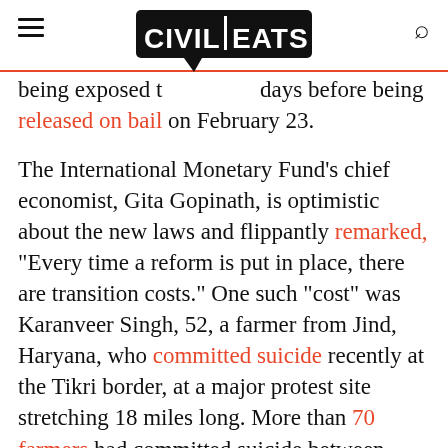Civil Eats (logo with hamburger menu and search icon)
being exposed t[o the virus for] days before being released on bail on February 23.
The International Monetary Fund's chief economist, Gita Gopinath, is optimistic about the new laws and flippantly remarked, "Every time a reform is put in place, there are transition costs." One such "cost" was Karanveer Singh, 52, a farmer from Jind, Haryana, who committed suicide recently at the Tikri border, at a major protest site stretching 18 miles long. More than 70 farmers had committed suicide between November and mid-January in protest, including a 65-year-old Sikh priest named Baba Ram Singh, in an attempt to prevent this new "transition" and its "costs." Overall, 194 farmers have died since